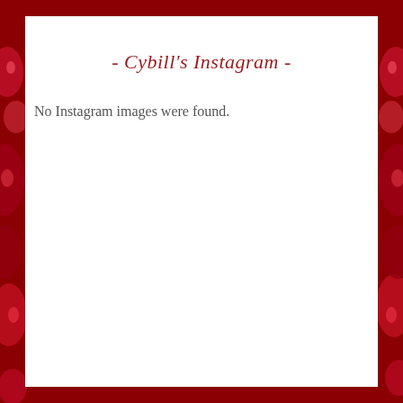- Cybill's Instagram -
No Instagram images were found.